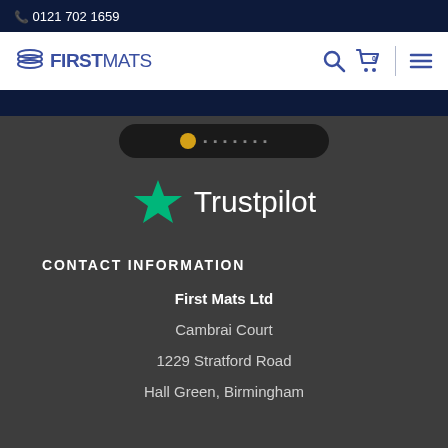0121 702 1659
[Figure (logo): First Mats logo with stacked layers icon]
[Figure (logo): Trustpilot logo with green star]
CONTACT INFORMATION
First Mats Ltd
Cambrai Court
1229 Stratford Road
Hall Green, Birmingham